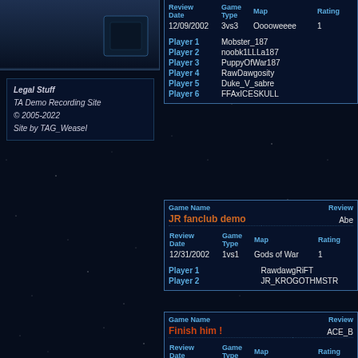| Review Date | Game Type | Map | Rating |
| --- | --- | --- | --- |
| 12/09/2002 | 3vs3 | Ooooweeee | 1 |
| Player 1 | Mobster_187 |  |  |
| Player 2 | noobk1LLLa187 |  |  |
| Player 3 | PuppyOfWar187 |  |  |
| Player 4 | RawDawgosity |  |  |
| Player 5 | Duke_V_sabre |  |  |
| Player 6 | FFAxICESKULL |  |  |
Legal Stuff
TA Demo Recording Site
© 2005-2022
Site by TAG_Weasel
| Game Name |  |  | Review |
| --- | --- | --- | --- |
| JR fanclub demo |  |  | Abe |
| Review Date | Game Type | Map | Rating |
| 12/31/2002 | 1vs1 | Gods of War | 1 |
| Player 1 | RawdawgRiFT |  |  |
| Player 2 | JR_KROGOTHMSTR |  |  |
| Game Name |  |  | Review |
| --- | --- | --- | --- |
| Finish him ! |  |  | ACE_B |
| Review Date | Game Type | Map | Rating |
| 01/07/2003 | 2vs2 | Gods of War | 8 |